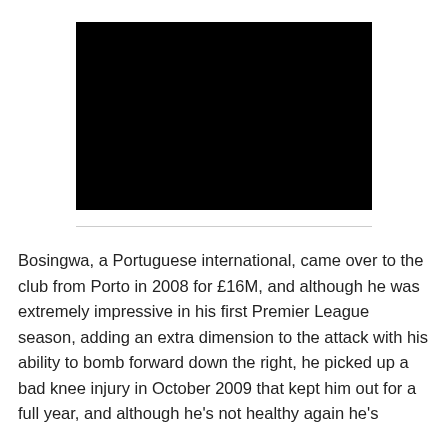[Figure (photo): Black rectangular image, likely a video player or embedded media with no visible content — fully black frame.]
Bosingwa, a Portuguese international, came over to the club from Porto in 2008 for £16M, and although he was extremely impressive in his first Premier League season, adding an extra dimension to the attack with his ability to bomb forward down the right, he picked up a bad knee injury in October 2009 that kept him out for a full year, and although he's not healthy again he's